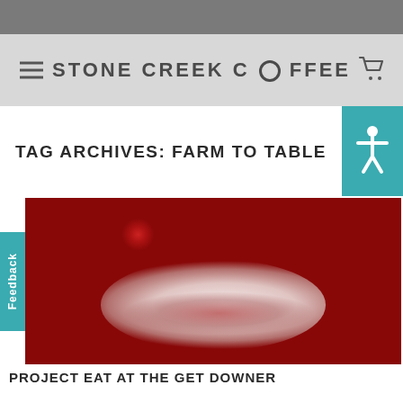STONE CREEK COFFEE
TAG ARCHIVES: FARM TO TABLE
[Figure (photo): A white bowl filled with mixed berries (strawberries, blueberries, raspberries, blackberries) and granola topped with whipped cream and berry sauce drizzle, photographed on a wooden surface from above at an angle.]
PROJECT EAT AT THE GET DOWNER